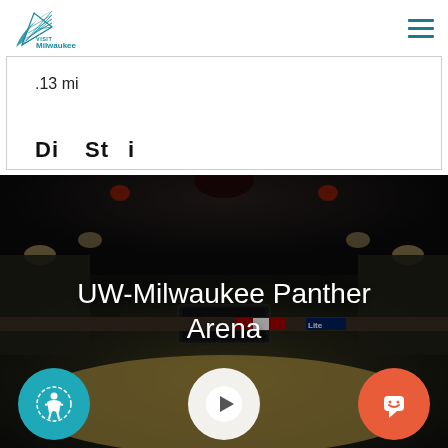[Figure (logo): Visit Milwaukee logo — teal sailfish/net graphic with 'VISIT Milwaukee' text]
.13 mi
[Figure (photo): Interior panoramic photo of UW-Milwaukee Panther Arena, showing the basketball court, seating, scoreboard, and arena ceiling. Overlaid with the title 'UW-Milwaukee Panther Arena' and three circular buttons: teal accessibility icon, white play button, orange chat icon.]
UW-Milwaukee Panther Arena